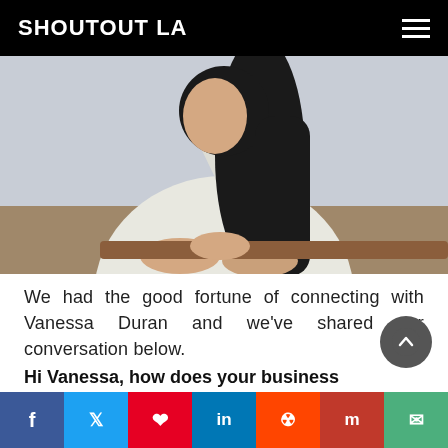SHOUTOUT LA
[Figure (photo): Woman in white blazer with long dark hair, leaning on a wooden surface, photographed from waist up against a light gray background.]
We had the good fortune of connecting with Vanessa Duran and we’ve shared our conversation below.
Hi Vanessa, how does your business help the community?
Small businesses truly form the fabric of our local communities. Our local shopping districts help preserve our communities sense of identity,